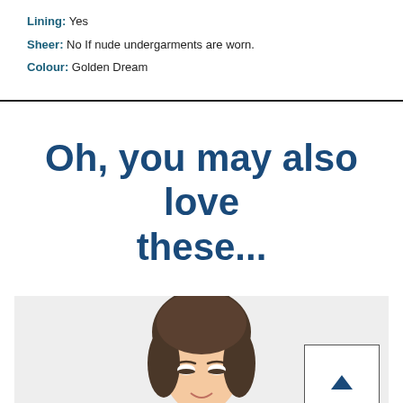Lining: Yes
Sheer: No If nude undergarments are worn.
Colour: Golden Dream
Oh, you may also love these...
[Figure (photo): Section with a model photo and a scroll-up button on a light grey background]